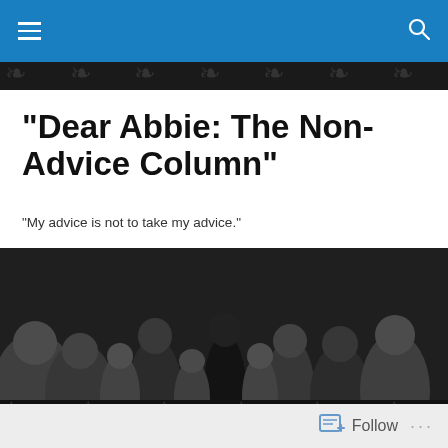"Dear Abbie: The Non-Advice Column"
"My advice is not to take my advice."
[Figure (photo): Black and white photograph showing a crowd of people on a busy street or public space, with a woman in dark clothing prominently visible in the center.]
TAGGED WITH POLICE STATE
“Living in History”